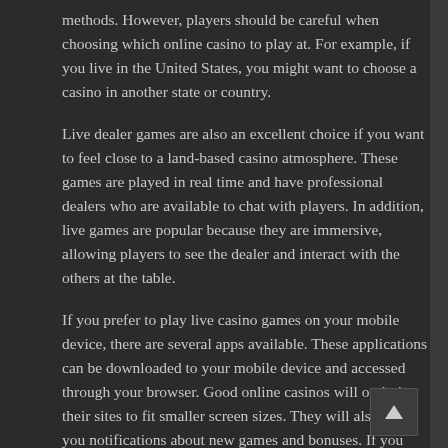methods. However, players should be careful when choosing which online casino to play at. For example, if you live in the United States, you might want to choose a casino in another state or country.
Live dealer games are also an excellent choice if you want to feel close to a land-based casino atmosphere. These games are played in real time and have professional dealers who are available to chat with players. In addition, live games are popular because they are immersive, allowing players to see the dealer and interact with the others at the table.
If you prefer to play live casino games on your mobile device, there are several apps available. These applications can be downloaded to your mobile device and accessed through your browser. Good online casinos will optimize their sites to fit smaller screen sizes. They will also send you notifications about new games and bonuses. If you don't have a mobile device, you can download an application that provides this functionality.